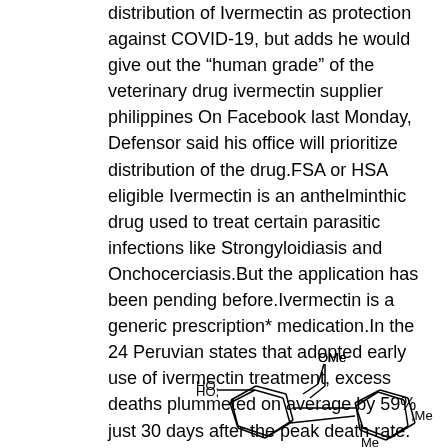distribution of Ivermectin as protection against COVID-19, but adds he would give out the “human grade” of the veterinary drug ivermectin supplier philippines On Facebook last Monday, Defensor said his office will prioritize distribution of the drug.FSA or HSA eligible Ivermectin is an anthelminthic drug used to treat certain parasitic infections like Strongyloidiasis and Onchocerciasis.But the application has been pending before.Ivermectin is a generic prescription* medication.In the 24 Peruvian states that adopted early use of ivermectin treatment, excess deaths plummeted on average by 59% just 30 days after the peak death rate.
Supplier philippines ivermectin
[Figure (schematic): Chemical structure diagram of ivermectin showing partial molecular structure with HO, OMe, and Me groups labeled, cyclohexane rings visible at bottom of page]